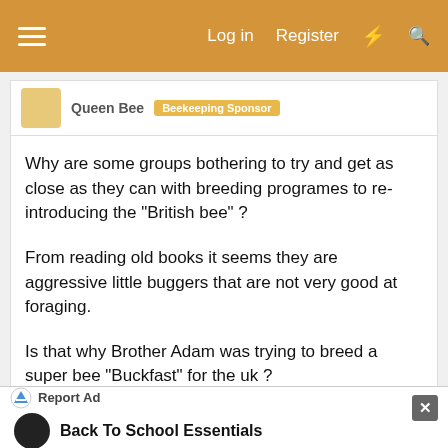≡  Log in  Register  ⚡  🔍
Queen Bee  Beekeeping Sponsor
Why are some groups bothering to try and get as close as they can with breeding programes to re-introducing the "British bee" ?

From reading old books it seems they are aggressive little buggers that are not very good at foraging.

Is that why Brother Adam was trying to breed a super bee "Buckfast" for the uk ?

BIBA claim in their mission statement to be working towards:The restoration, study, selection and improvement of the native and near-native honey bee.
Report Ad  Back To School Essentials